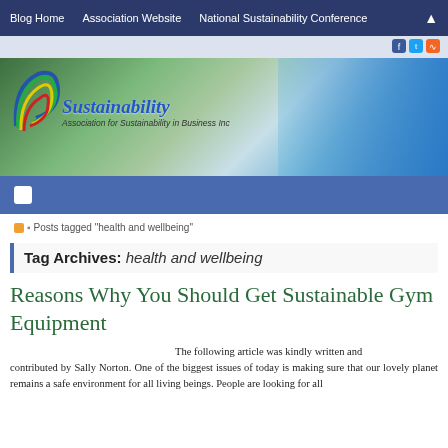Blog Home | Association Website | National Sustainability Conference
[Figure (logo): Sustainability – Association for Sustainability in Business Inc banner with colorful arc logo]
Posts tagged "health and wellbeing"
Tag Archives: health and wellbeing
Reasons Why You Should Get Sustainable Gym Equipment
The following article was kindly written and contributed by Sally Norton. One of the biggest issues of today is making sure that our lovely planet remains a safe environment for all living beings. People are looking for all